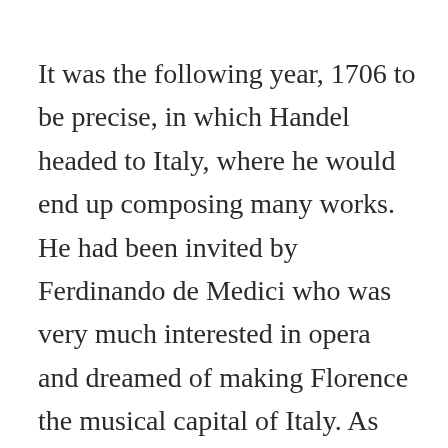It was the following year, 1706 to be precise, in which Handel headed to Italy, where he would end up composing many works. He had been invited by Ferdinando de Medici who was very much interested in opera and dreamed of making Florence the musical capital of Italy. As such, he wished to attract current leading talents. As a result, Handel met many of the greatest Italian musicians while traveling in Italy over the next four years, such as Alessandro Scarlatti and his son Domenico, Arangelo Corelli, and Antonio Salvi, a librettist with which Handel collaborated